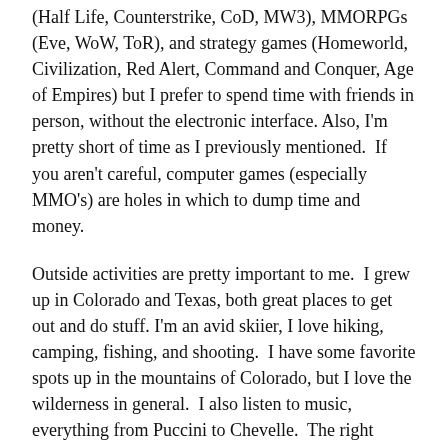(Half Life, Counterstrike, CoD, MW3), MMORPGs (Eve, WoW, ToR), and strategy games (Homeworld, Civilization, Red Alert, Command and Conquer, Age of Empires) but I prefer to spend time with friends in person, without the electronic interface. Also, I'm pretty short of time as I previously mentioned.  If you aren't careful, computer games (especially MMO's) are holes in which to dump time and money.
Outside activities are pretty important to me.  I grew up in Colorado and Texas, both great places to get out and do stuff.  I'm an avid skiier, I love hiking, camping, fishing, and shooting.  I have some favorite spots up in the mountains of Colorado, but I love the wilderness in general.  I also listen to music, everything from Puccini to Chevelle.  The right music at the write time is a great way to enjoy the moment or just to relax.  My favorite types of music are the ones that resonate with my current emotional state.  So yes, I'll listen to opera if I'm in the mood.  I really enjoy classic rock, to include Fleetwood Mac, the Eagles, Foreigner, Charlie Daniels,